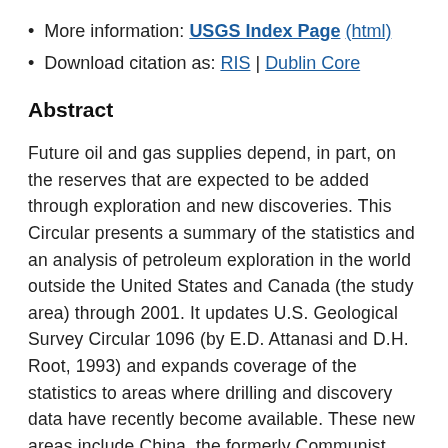More information: USGS Index Page (html)
Download citation as: RIS | Dublin Core
Abstract
Future oil and gas supplies depend, in part, on the reserves that are expected to be added through exploration and new discoveries. This Circular presents a summary of the statistics and an analysis of petroleum exploration in the world outside the United States and Canada (the study area) through 2001. It updates U.S. Geological Survey Circular 1096 (by E.D. Attanasi and D.H. Root, 1993) and expands coverage of the statistics to areas where drilling and discovery data have recently become available. These new areas include China, the formerly Communist countries of Eastern Europe, and the